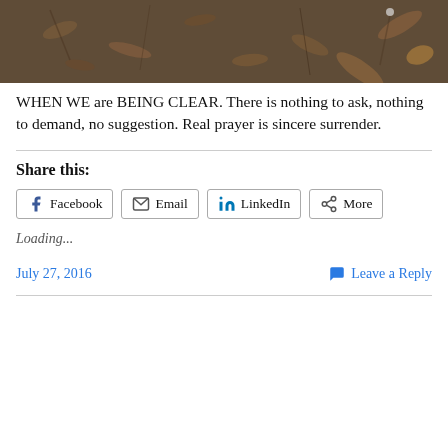[Figure (photo): Outdoor ground-level photo showing dead leaves, dirt, and sparse dry grass on the ground.]
WHEN WE are BEING CLEAR. There is nothing to ask, nothing to demand, no suggestion. Real prayer is sincere surrender.
Share this:
Facebook  Email  LinkedIn  More
Loading...
July 27, 2016   Leave a Reply